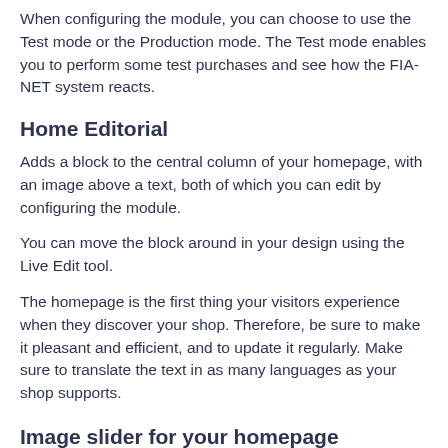When configuring the module, you can choose to use the Test mode or the Production mode. The Test mode enables you to perform some test purchases and see how the FIA-NET system reacts.
Home Editorial
Adds a block to the central column of your homepage, with an image above a text, both of which you can edit by configuring the module.
You can move the block around in your design using the Live Edit tool.
The homepage is the first thing your visitors experience when they discover your shop. Therefore, be sure to make it pleasant and efficient, and to update it regularly. Make sure to translate the text in as many languages as your shop supports.
Image slider for your homepage
Adds a slider block on your homepage's central column, where you can define a set of images that will be displayed one after the